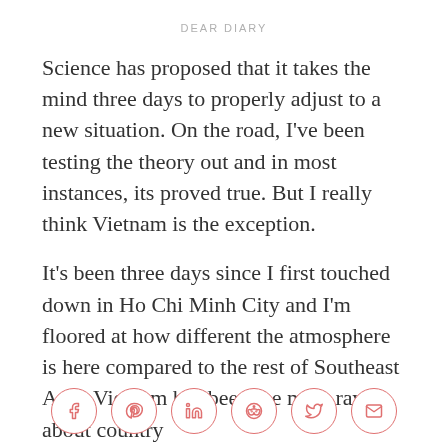DEAR DIARY
Science has proposed that it takes the mind three days to properly adjust to a new situation. On the road, I've been testing the theory out and in most instances, its proved true. But I really think Vietnam is the exception.
It's been three days since I first touched down in Ho Chi Minh City and I'm floored at how different the atmosphere is here compared to the rest of Southeast Asia. Vietnam has been the most raved about country
[Figure (infographic): Social share buttons: Facebook, Pinterest, LinkedIn, Reddit, Twitter, Email — circular outlined icons in coral/salmon color]